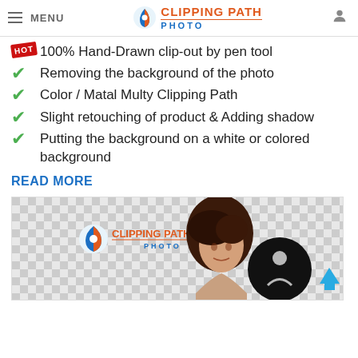MENU | CLIPPING PATH PHOTO
100% Hand-Drawn clip-out by pen tool
Removing the background of the photo
Color / Matal Multy Clipping Path
Slight retouching of product & Adding shadow
Putting the background on a white or colored background
READ MORE
[Figure (photo): Screenshot of Clipping Path Photo website showing a woman with dark hair with background removed on a transparent (checkerboard) background, with a circular black shape. Clipping Path Photo logo visible top-left. Blue scroll-to-top arrow bottom-right.]